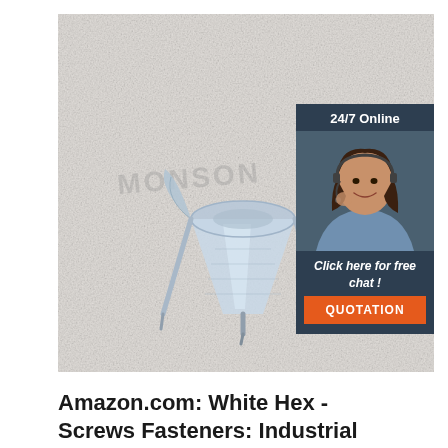[Figure (photo): Photo of zinc/metal hex screws (wing nuts with pointed tips) on a gray textured background. A watermark reads 'MONSON'. An overlay ad panel is present in the top-right corner showing a customer service representative with headset, text '24/7 Online', 'Click here for free chat!', and an orange 'QUOTATION' button.]
Amazon.com: White Hex - Screws Fasteners: Industrial